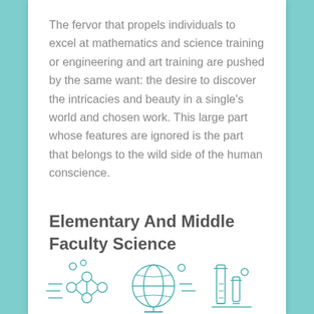The fervor that propels individuals to excel at mathematics and science training or engineering and art training are pushed by the same want: the desire to discover the intricacies and beauty in a single's world and chosen work. This large part whose features are ignored is the part that belongs to the wild side of the human conscience.
Elementary And Middle Faculty Science
[Figure (illustration): Line drawing illustration of science-related objects including a molecular/atom model, a globe, laboratory glassware (test tubes, beaker), and other science equipment arranged together.]